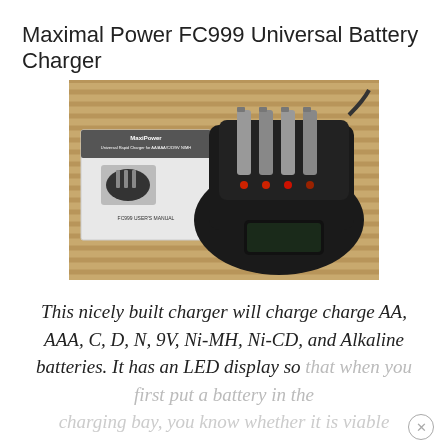Maximal Power FC999 Universal Battery Charger
[Figure (photo): Photo of Maximal Power FC999 Universal Battery Charger device with batteries inserted and red LED indicators lit, alongside the FC999 user's manual booklet, placed on a bamboo mat background.]
This nicely built charger will charge charge AA, AAA, C, D, N, 9V, Ni-MH, Ni-CD, and Alkaline batteries. It has an LED display so that when you first put a battery in the charging bay, you know whether it is viable